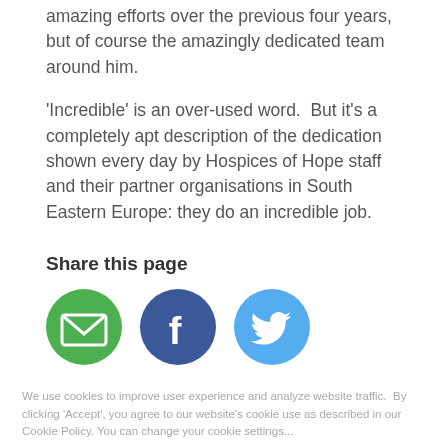amazing efforts over the previous four years, but of course the amazingly dedicated team around him.
'Incredible' is an over-used word.  But it's a completely apt description of the dedication shown every day by Hospices of Hope staff and their partner organisations in South Eastern Europe: they do an incredible job.
Share this page
[Figure (other): Three social sharing icons: green email icon, dark blue Facebook icon, light blue Twitter icon]
We use cookies to improve user experience and analyze website traffic.  By clicking 'Accept', you agree to our website's cookie use as described in our Cookie Policy. You can change your cookie settings...